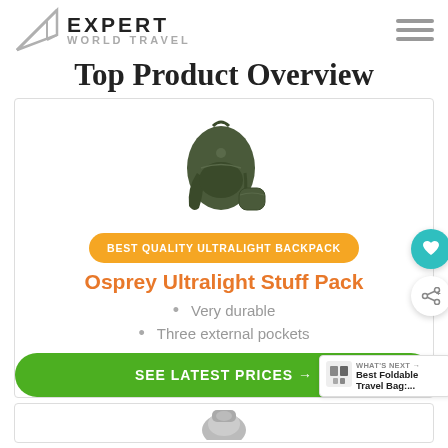EXPERT WORLD TRAVEL
Top Product Overview
[Figure (photo): Osprey Ultralight Stuff Pack backpack in dark olive/green color with a small stuff sack pouch beside it]
BEST QUALITY ULTRALIGHT BACKPACK
Osprey Ultralight Stuff Pack
Very durable
Three external pockets
SEE LATEST PRICES →
WHAT'S NEXT → Best Foldable Travel Bag:...
[Figure (photo): Partial view of next product backpack in gray color at bottom of page]